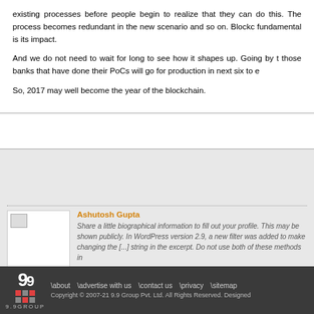existing processes before people begin to realize that they can do this. The process becomes redundant in the new scenario and so on. Blockchain is so fundamental is its impact.
And we do not need to wait for long to see how it shapes up. Going by the those banks that have done their PoCs will go for production in next six to e
So, 2017 may well become the year of the blockchain.
[Figure (photo): Author profile image placeholder for Ashutosh Gupta]
Ashutosh Gupta
Share a little biographical information to fill out your profile. This may be shown publicly. In WordPress version 2.9, a new filter was added to make changing the [...] string in the excerpt. Do not use both of these methods in
about | advertise with us | contact us | privacy | sitemap
Copyright © 2007-21 9.9 Group Pvt. Ltd. All Rights Reserved. Designed